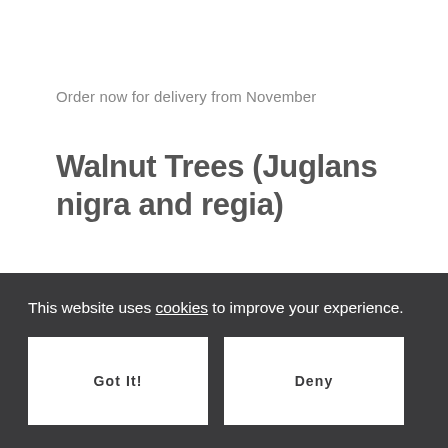Order now for delivery from November
Walnut Trees (Juglans nigra and regia)
There are no mature walnut trees hereabouts as they were felled mercilessly for their gorgeous wood. They grow very well on our local deep, fertile and heavy soil, as
This website uses cookies to improve your experience.
Got It!
Deny